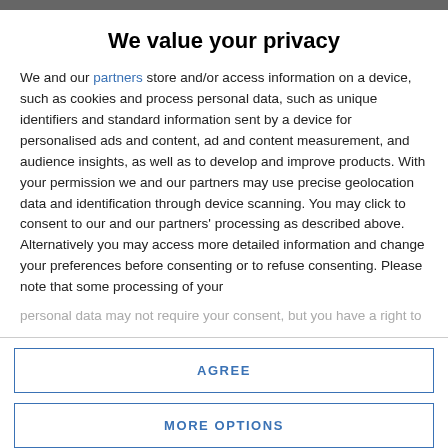We value your privacy
We and our partners store and/or access information on a device, such as cookies and process personal data, such as unique identifiers and standard information sent by a device for personalised ads and content, ad and content measurement, and audience insights, as well as to develop and improve products. With your permission we and our partners may use precise geolocation data and identification through device scanning. You may click to consent to our and our partners' processing as described above. Alternatively you may access more detailed information and change your preferences before consenting or to refuse consenting. Please note that some processing of your personal data may not require your consent, but you have a right to
AGREE
MORE OPTIONS
A delegation of researchers from the Cawthron